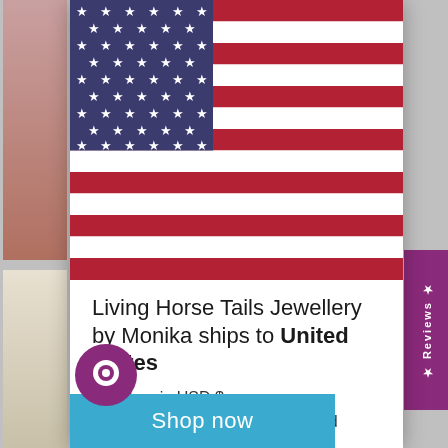[Figure (illustration): US flag illustration in the top portion of a modal popup]
Living Horse Tails Jewellery by Monika ships to United States
Shop in USD $
Get shipping options for United States
[Figure (other): Shop now button in light blue]